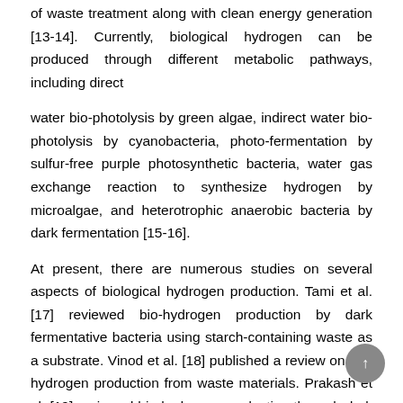of waste treatment along with clean energy generation [13-14]. Currently, biological hydrogen can be produced through different metabolic pathways, including direct
water bio-photolysis by green algae, indirect water bio-photolysis by cyanobacteria, photo-fermentation by sulfur-free purple photosynthetic bacteria, water gas exchange reaction to synthesize hydrogen by microalgae, and heterotrophic anaerobic bacteria by dark fermentation [15-16].
At present, there are numerous studies on several aspects of biological hydrogen production. Tami et al. [17] reviewed bio-hydrogen production by dark fermentative bacteria using starch-containing waste as a substrate. Vinod et al. [18] published a review on bio-hydrogen production from waste materials. Prakash et al. [19] reviewed bio-hydrogen production through dark fermentation.